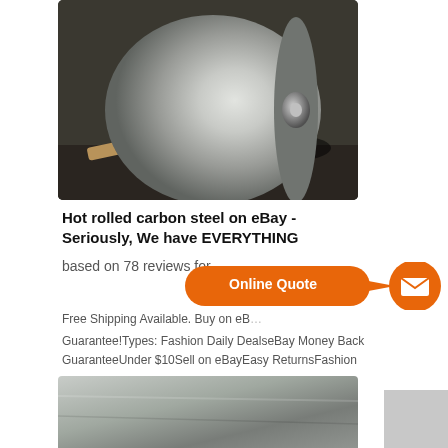[Figure (photo): Large roll of hot rolled carbon steel on a dark industrial floor background]
Hot rolled carbon steel on eBay - Seriously, We have EVERYTHING
based on 78 reviews for
Free Shipping Available. Buy on eB...
Guarantee!Types: Fashion Daily DealseBay Money Back GuaranteeUnder $10Sell on eBayEasy ReturnsFashion
[Figure (infographic): Orange 'Online Quote' button with arrow and orange mail circle icon]
[Figure (photo): Partial view of steel sheet/roll at bottom of page]